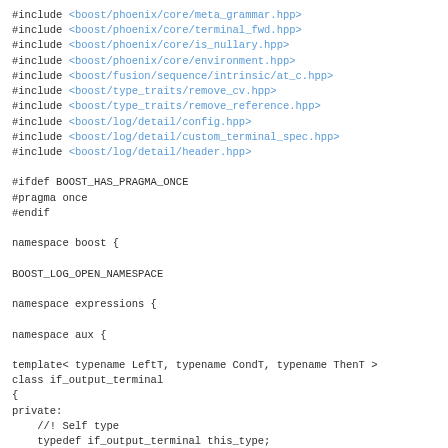#include <boost/phoenix/core/meta_grammar.hpp>
#include <boost/phoenix/core/terminal_fwd.hpp>
#include <boost/phoenix/core/is_nullary.hpp>
#include <boost/phoenix/core/environment.hpp>
#include <boost/fusion/sequence/intrinsic/at_c.hpp>
#include <boost/type_traits/remove_cv.hpp>
#include <boost/type_traits/remove_reference.hpp>
#include <boost/log/detail/config.hpp>
#include <boost/log/detail/custom_terminal_spec.hpp>
#include <boost/log/detail/header.hpp>

#ifdef BOOST_HAS_PRAGMA_ONCE
#pragma once
#endif

namespace boost {

BOOST_LOG_OPEN_NAMESPACE

namespace expressions {

namespace aux {

template< typename LeftT, typename CondT, typename ThenT >
class if_output_terminal
{
private:
    //! Self type
    typedef if_output_terminal this_type;

public:
#ifndef BOOST_LOG_DOXYGEN_PASS
    //! Internal typedef for type categorization
    typedef void _is_boost_log_terminal;
#endif

    //! Result type definition
    ...